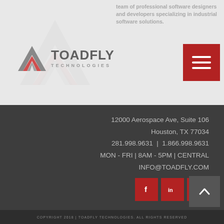[Figure (logo): Toadfly Technologies logo with geometric arrow icon in gray/red, company name in bold gray letters, subtitle TECHNOLOGIES in spaced gray letters. Faded watermark version visible behind main logo.]
team of professional software designers and developers specializing in industrial software solutions.
[Figure (other): Red square hamburger menu button with three white horizontal lines]
12000 Aerospace Ave, Suite 106
Houston, TX 77034
281.998.9631  |  1.866.998.9631
MON - FRI | 8AM - 5PM | CENTRAL
INFO@TOADFLY.COM
[Figure (other): Three red square social media icons: Facebook (f), LinkedIn (in), Twitter (bird)]
[Figure (other): Dark gray square back-to-top button with white upward chevron arrow]
COPYRIGHT 2018 | TOADFLY TECHNOLOGIES. ALL RIGHTS RESERVED